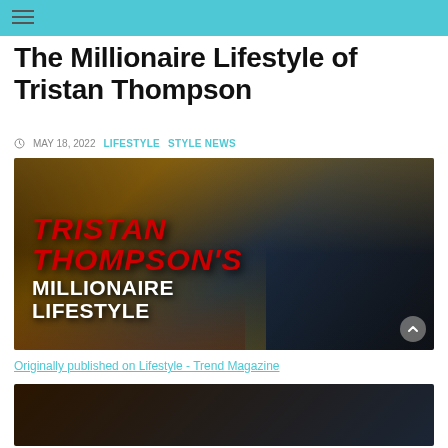The Millionaire Lifestyle of Tristan Thompson
MAY 18, 2022   LIFESTYLE   STYLE NEWS
[Figure (photo): Thumbnail image with text overlay reading 'TRISTAN THOMPSON'S MILLIONAIRE LIFESTYLE' in red and white bold letters, showing Tristan Thompson in a tuxedo on the right side and luxury cars on the left, with a mansion in the background.]
Originally published on Lifestyle - Trend Magazine
[Figure (photo): Partial bottom image, cropped, showing the beginning of another article or section.]